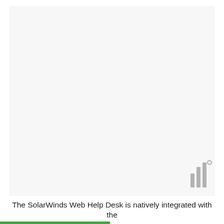[Figure (screenshot): Large blank/white screenshot area occupying most of the page, with a SolarWinds logo mark (three vertical bars with a degree symbol) in the lower right corner of the image area.]
The SolarWinds Web Help Desk is natively integrated with the